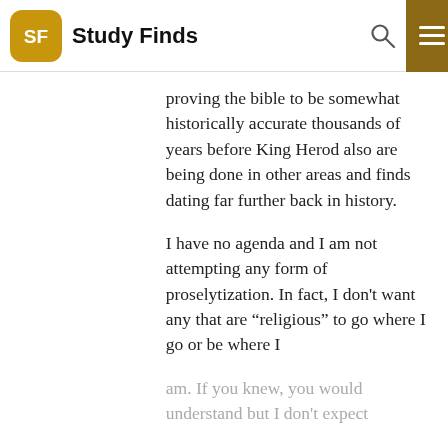Study Finds
proving the bible to be somewhat historically accurate thousands of years before King Herod also are being done in other areas and finds dating far further back in history.
I have no agenda and I am not attempting any form of proselytization. In fact, I don’t want any that are “religious” to go where I go or be where I am. If you knew, you would understand but I don’t expect